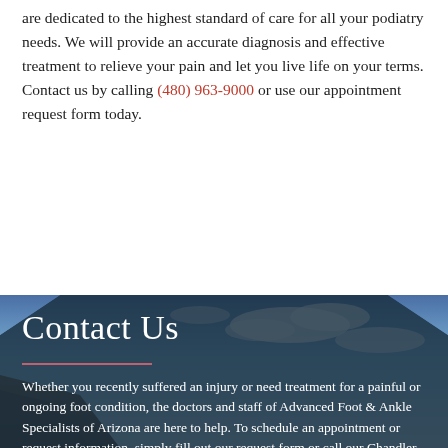are dedicated to the highest standard of care for all your podiatry needs. We will provide an accurate diagnosis and effective treatment to relieve your pain and let you live life on your terms. Contact us by calling (480) 963-9000 or use our appointment request form today.
[Figure (photo): Dark hexagonal/octagonal shaped overlay on a landscape photo with blue sky and rock formations, containing the 'Contact Us' section with white text on a semi-transparent dark teal/navy background.]
Contact Us
Whether you recently suffered an injury or need treatment for a painful or ongoing foot condition, the doctors and staff of Advanced Foot & Ankle Specialists of Arizona are here to help. To schedule an appointment or request information, simply fill out our request form or call our Chandler office at (480) 963-9000